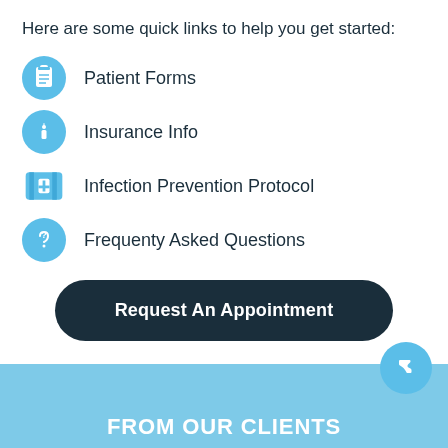Here are some quick links to help you get started:
Patient Forms
Insurance Info
Infection Prevention Protocol
Frequenty Asked Questions
Request An Appointment
FROM OUR CLIENTS